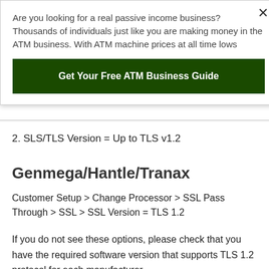Are you looking for a real passive income business? Thousands of individuals just like you are making money in the ATM business. With ATM machine prices at all time lows
Get Your Free ATM Business Guide
2. SLS/TLS Version = Up to TLS v1.2
Genmega/Hantle/Tranax
Customer Setup > Change Processor > SSL Pass Through > SSL > SSL Version = TLS 1.2
If you do not see these options, please check that you have the required software version that supports TLS 1.2 protocol for each manufacturer.